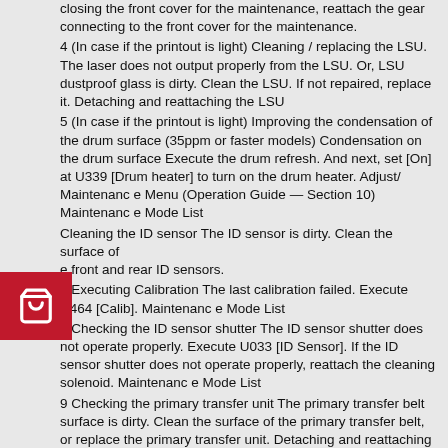closing the front cover for the maintenance, reattach the gear connecting to the front cover for the maintenance.
4 (In case if the printout is light) Cleaning / replacing the LSU. The laser does not output properly from the LSU. Or, LSU dustproof glass is dirty. Clean the LSU. If not repaired, replace it. Detaching and reattaching the LSU
5 (In case if the printout is light) Improving the condensation of the drum surface (35ppm or faster models) Condensation on the drum surface Execute the drum refresh. And next, set [On] at U339 [Drum heater] to turn on the drum heater. Adjust/ Maintenanc e Menu (Operation Guide — Section 10) Maintenanc e Mode List
Cleaning the ID sensor The ID sensor is dirty. Clean the surface of the front and rear ID sensors.
7 Executing Calibration The last calibration failed. Execute U464 [Calib]. Maintenanc e Mode List
8 Checking the ID sensor shutter The ID sensor shutter does not operate properly. Execute U033 [ID Sensor]. If the ID sensor shutter does not operate properly, reattach the cleaning solenoid. Maintenanc e Mode List
9 Checking the primary transfer unit The primary transfer belt surface is dirty. Clean the surface of the primary transfer belt, or replace the primary transfer unit. Detaching and reattaching the Primary Transfer Unit
10 Checking the ID sensor The ID sensor is not properly attached, or the connector is not properly connected. Reattach the front and rear ID sensors and reconnect the connectors.
11 (When the image is too light) Checking the main high voltage PWB /